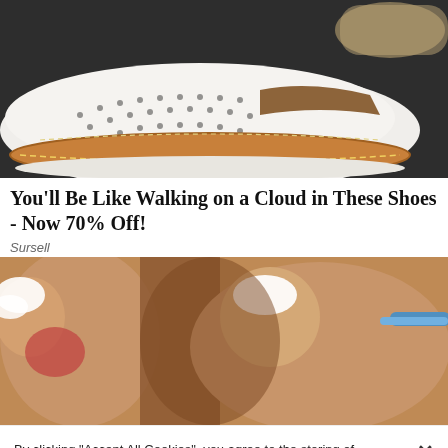[Figure (photo): Close-up photo of a white perforated slip-on shoe with brown/tan cork-style sole on dark background]
You'll Be Like Walking on a Cloud in These Shoes - Now 70% Off!
Sursell
[Figure (photo): Close-up medical illustration of feet/toes with cream or treatment being applied, showing bunions or foot condition]
By clicking "Accept All Cookies", you agree to the storing of cookies on your device to enhance site navigation, analyze site usage, and assist in our marketing efforts.
Cookies Settings
Accept All Cookies